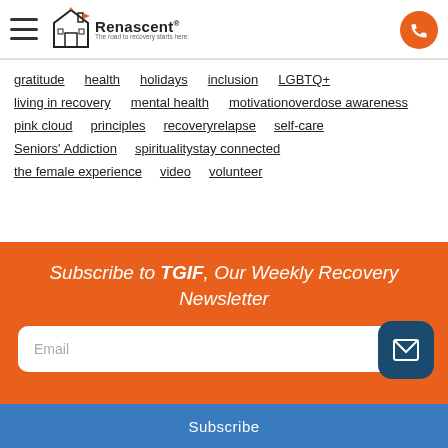Renascent — The road to recovery starts here.
gratitude
health
holidays
inclusion
LGBTQ+
living in recovery
mental health
motivation
overdose awareness
pink cloud
principles
recovery
relapse
self-care
Seniors' Addiction
spirituality
stay connected
the female experience
video
volunteer
Subscribe to TGIF, Our Weekly Recovery Newsletter
Email
Subscribe